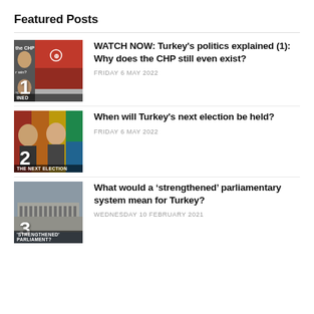Featured Posts
[Figure (photo): Thumbnail image 1: CHP political rally with number 1 badge, labeled 'the CHP win?' and 'TICS AINED']
WATCH NOW: Turkey's politics explained (1): Why does the CHP still even exist?
FRIDAY 6 MAY 2022
[Figure (photo): Thumbnail image 2: Turkish politicians with colored background blocks, number 2 badge, labeled 'THE NEXT ELECTION']
When will Turkey's next election be held?
FRIDAY 6 MAY 2022
[Figure (photo): Thumbnail image 3: Parliament building photo, number 3 badge, labeled 'STRENGTHENED PARLIAMENT?']
What would a ‘strengthened’ parliamentary system mean for Turkey?
WEDNESDAY 10 FEBRUARY 2021